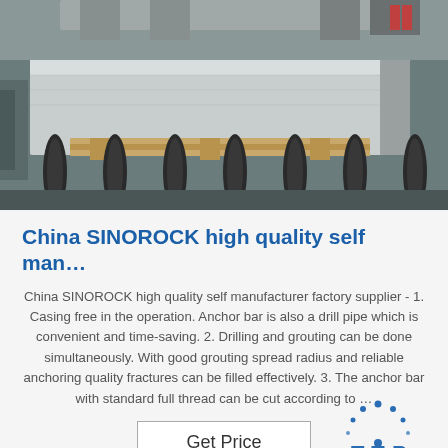[Figure (photo): Industrial machinery photo showing a large metal block/billet on cylindrical steel rollers in a factory setting, viewed from the side.]
China SINOROCK high quality self man…
China SINOROCK high quality self manufacturer factory supplier - 1. Casing free in the operation. Anchor bar is also a drill pipe which is convenient and time-saving. 2. Drilling and grouting can be done simultaneously. With good grouting spread radius and reliable anchoring quality fractures can be filled effectively. 3. The anchor bar with standard full thread can be cut according to …
[Figure (logo): TOP logo with blue dotted arc above the letters T O P in blue, with a blue dot accent on the O.]